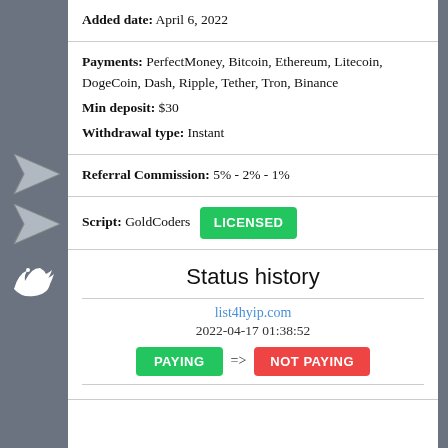Added date: April 6, 2022
Payments: PerfectMoney, Bitcoin, Ethereum, Litecoin, DogeCoin, Dash, Ripple, Tether, Tron, Binance
Min deposit: $30
Withdrawal type: Instant
Referral Commission: 5% - 2% - 1%
Script: GoldCoders LICENSED
Status history
list4hyip.com
2022-04-17 01:38:52
PAYING => NOT PAYING